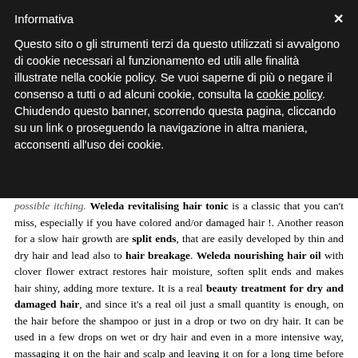Informativa
Questo sito o gli strumenti terzi da questo utilizzati si avvalgono di cookie necessari al funzionamento ed utili alle finalità illustrate nella cookie policy. Se vuoi saperne di più o negare il consenso a tutti o ad alcuni cookie, consulta la cookie policy.
Chiudendo questo banner, scorrendo questa pagina, cliccando su un link o proseguendo la navigazione in altra maniera, acconsenti all'uso dei cookie.
possible itching. Weleda revitalising hair tonic is a classic that you can't miss, especially if you have colored and/or damaged hair !. Another reason for a slow hair growth are split ends, that are easily developed by thin and dry hair and lead also to hair breakage. Weleda nourishing hair oil with clover flower extract restores hair moisture, soften split ends and makes hair shiny, adding more texture. It is a real beauty treatment for dry and damaged hair, and since it's a real oil just a small quantity is enough, on the hair before the shampoo or just in a drop or two on dry hair. It can be used in a few drops on wet or dry hair and even in a more intensive way, massaging it on the hair and scalp and leaving it on for a long time before rinsing away. Weleda nourishing oil is also a must have